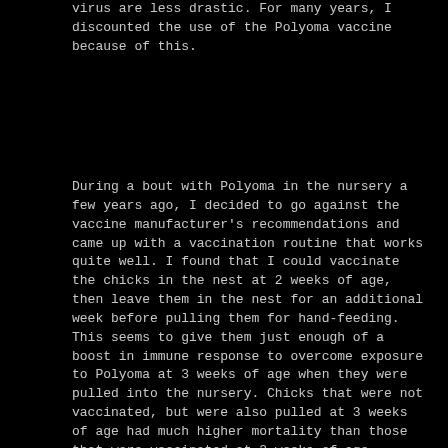virus are less drastic. For many years, I discounted the use of the Polyoma vaccine because of this.
During a bout with Polyoma in the nursery a few years ago, I decided to go against the vaccine manufacturer's recommendations and came up with a vaccination routine that works quite well. I found that I could vaccinate the chicks in the nest at 2 weeks of age, then leave them in the nest for an additional week before pulling them for hand-feeding. This seems to give them just enough of a boost in immune response to overcome exposure to Polyoma at 3 weeks of age when they were pulled into the nursery. Chicks that were not vaccinated, but were also pulled at 3 weeks of age had much higher mortality than those that were vaccinated at 2 weeks of age.